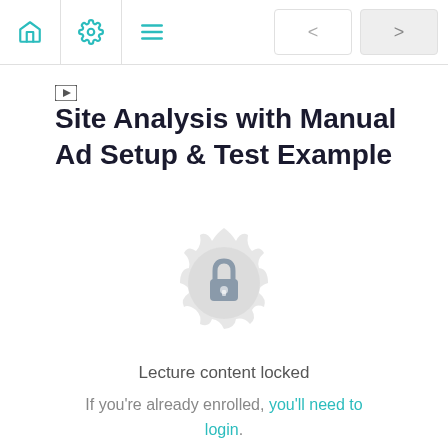Navigation bar with home, settings, menu icons and back/forward buttons
Site Analysis with Manual Ad Setup & Test Example
[Figure (illustration): A circular ornamental badge with a padlock icon in the center, indicating locked content]
Lecture content locked
If you're already enrolled, you'll need to login.